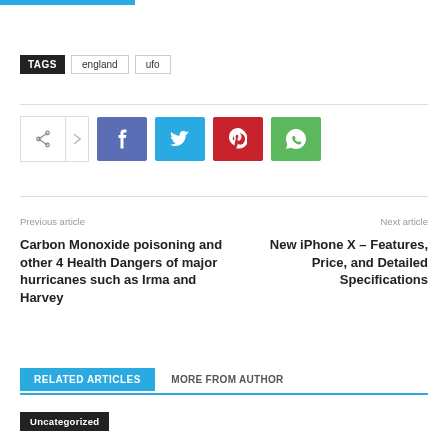[Figure (other): Blue horizontal bar at top of page]
TAGS  england  ufo
[Figure (infographic): Social sharing buttons: share icon, Facebook, Twitter, Pinterest, WhatsApp]
Previous article
Carbon Monoxide poisoning and other 4 Health Dangers of major hurricanes such as Irma and Harvey
Next article
New iPhone X – Features, Price, and Detailed Specifications
RELATED ARTICLES  MORE FROM AUTHOR
Uncategorized